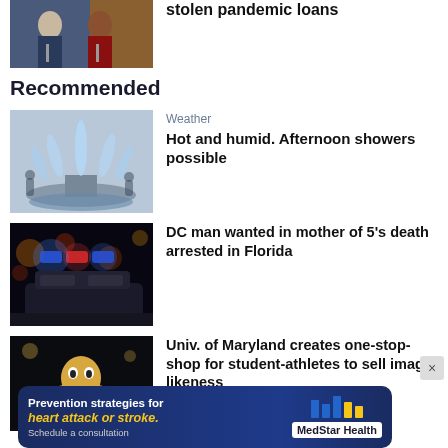[Figure (photo): Two men in suits at a press conference with FBI/government flags behind them]
stolen pandemic loans
Recommended
[Figure (photo): Outdoor fountain with water jets in a public square]
Weather
Hot and humid. Afternoon showers possible
[Figure (photo): Police car with blue and red flashing lights at night]
DC man wanted in mother of 5's death arrested in Florida
[Figure (photo): University of Maryland mascot (Testudo the terrapin)]
Univ. of Maryland creates one-stop-shop for student-athletes to sell image likeness
[Figure (other): MedStar Health advertisement banner: Prevention strategies for heart attack or stroke. Schedule a consultation.]